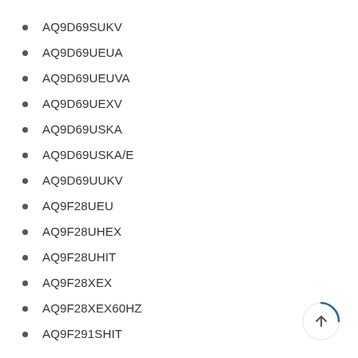AQ9D69SUKV
AQ9D69UEUA
AQ9D69UEUVA
AQ9D69UEXV
AQ9D69USKA
AQ9D69USKA/E
AQ9D69UUKV
AQ9F28UEU
AQ9F28UHEX
AQ9F28UHIT
AQ9F28XEX
AQ9F28XEX60HZ
AQ9F291SHIT